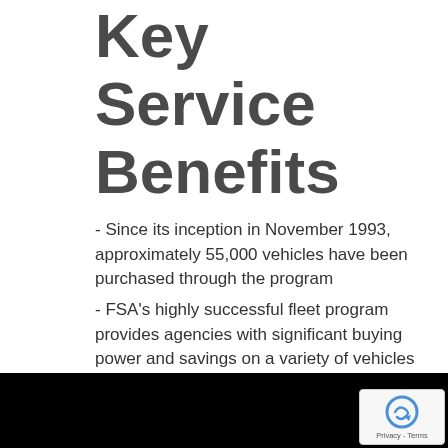Key Service Benefits
- Since its inception in November 1993, approximately 55,000 vehicles have been purchased through the program
- FSA's highly successful fleet program provides agencies with significant buying power and savings on a variety of vehicles and equipment
- Program prices are equivalent to, or even lower than, other statewide competitive bid prices
[Figure (other): Black video/image placeholder bar at the bottom of the page, with a reCAPTCHA badge overlay in the bottom-right corner]